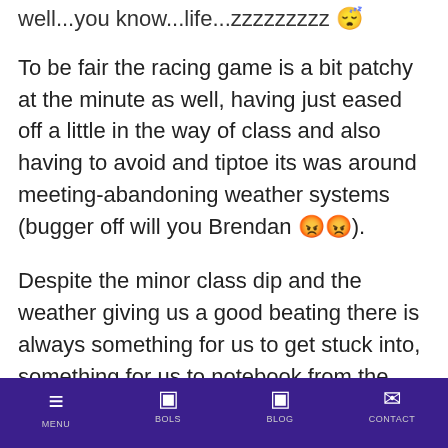well...you know...life...zzzzzzzzz 😴
To be fair the racing game is a bit patchy at the minute as well, having just eased off a little in the way of class and also having to avoid and tiptoe its was around meeting-abandoning weather systems (bugger off will you Brendan 😡😡).
Despite the minor class dip and the weather giving us a good beating there is always something for us to get stuck into, something for us to notebook from the action, and here's my take on what has just entered the form
MENU | BOLS | BLOG | CONTACT